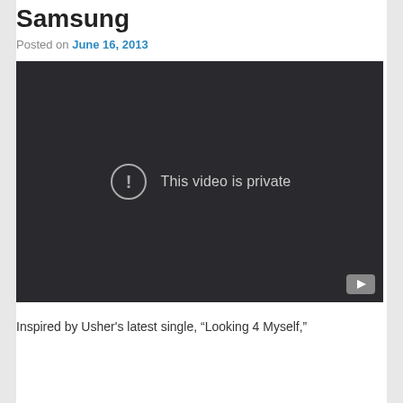Samsung
Posted on June 16, 2013
[Figure (screenshot): Embedded video player showing 'This video is private' message on a dark background, with a YouTube play button icon in the bottom right corner.]
Inspired by Usher's latest single, “Looking 4 Myself,”